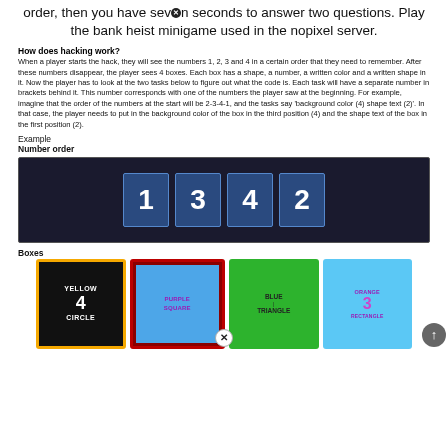order, then you have seven seconds to answer two questions. Play the bank heist minigame used in the nopixel server.
How does hacking work?
When a player starts the hack, they will see the numbers 1, 2, 3 and 4 in a certain order that they need to remember. After these numbers disappear, the player sees 4 boxes. Each box has a shape, a number, a written color and a written shape in it. Now the player has to look at the two tasks below to figure out what the code is. Each task will have a separate number in brackets behind it. This number corresponds with one of the numbers the player saw at the beginning. For example, imagine that the order of the numbers at the start will be 2-3-4-1, and the tasks say 'background color (4) shape text (2)'. In that case, the player needs to put in the background color of the box in the third position (4) and the shape text of the box in the first position (2).
Example
Number order
[Figure (screenshot): Screenshot of number order display showing boxes with numbers 1, 3, 4, 2 on dark background]
Boxes
[Figure (screenshot): Screenshot of four colored boxes: yellow box with black inner showing YELLOW 4 CIRCLE, dark red box with blue inner showing PURPLE SQUARE, green box showing BLUE TRIANGLE, light blue box showing ORANGE 3 RECTANGLE]